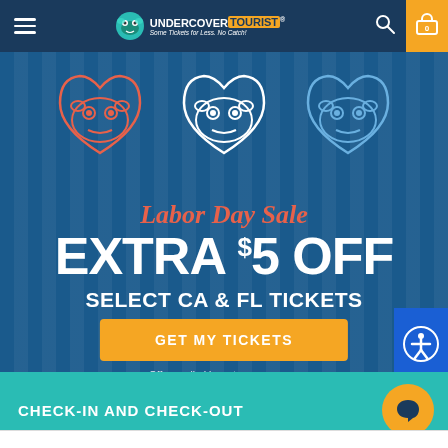Undercover Tourist — Some Tickets for Less. No Catch!
[Figure (illustration): Three cartoon frog faces in heart shapes: left in red/pink outlines, center in white outlines, right in blue outlines, on dark blue background — Undercover Tourist mascot illustrations]
Labor Day Sale
EXTRA $5 OFF SELECT CA & FL TICKETS
GET MY TICKETS
Offer applied in cart.
Expires midnight 9/6/22.
CHECK-IN AND CHECK-OUT